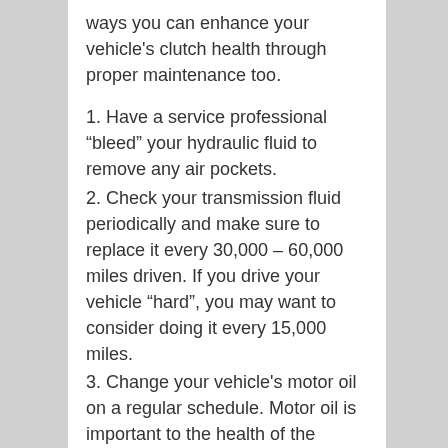ways you can enhance your vehicle's clutch health through proper maintenance too.
1. Have a service professional “bleed” your hydraulic fluid to remove any air pockets.
2. Check your transmission fluid periodically and make sure to replace it every 30,000 – 60,000 miles driven. If you drive your vehicle “hard”, you may want to consider doing it every 15,000 miles.
3. Change your vehicle's motor oil on a regular schedule. Motor oil is important to the health of the engine and other parts, so it can